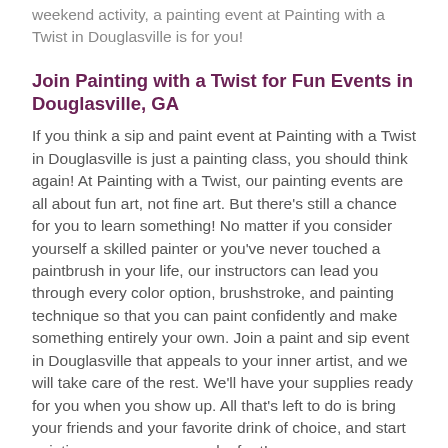weekend activity, a painting event at Painting with a Twist in Douglasville is for you!
Join Painting with a Twist for Fun Events in Douglasville, GA
If you think a sip and paint event at Painting with a Twist in Douglasville is just a painting class, you should think again! At Painting with a Twist, our painting events are all about fun art, not fine art. But there's still a chance for you to learn something! No matter if you consider yourself a skilled painter or you've never touched a paintbrush in your life, our instructors can lead you through every color option, brushstroke, and painting technique so that you can paint confidently and make something entirely your own. Join a paint and sip event in Douglasville that appeals to your inner artist, and we will take care of the rest. We'll have your supplies ready for you when you show up. All that's left to do is bring your friends and your favorite drink of choice, and start painting your very own work of art!
Twist at Home At-Home Paint Kits & Virtual